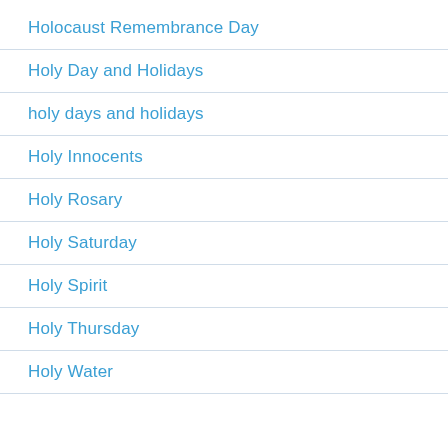Holocaust Remembrance Day
Holy Day and Holidays
holy days and holidays
Holy Innocents
Holy Rosary
Holy Saturday
Holy Spirit
Holy Thursday
Holy Water